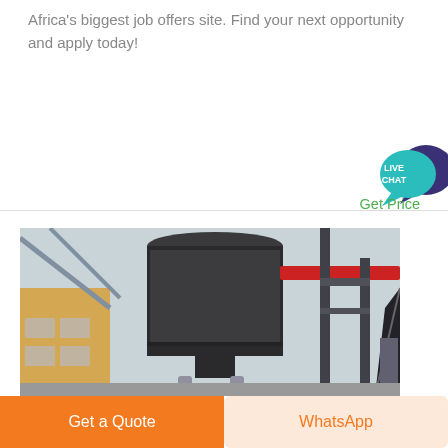Africa's biggest job offers site. Find your next opportunity and apply today!
[Figure (illustration): Live chat speech bubble icon with teal and dark blue colors, text 'LIVE CHAT']
Get Price
[Figure (photo): Industrial photograph showing large dark cylindrical tank/vessel in a factory or industrial plant setting, with red metal beams/crane structure visible on the right side and a yellow building in the background]
Get a Quote
WhatsApp